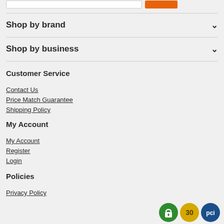Shop by brand
Shop by business
Customer Service
Contact Us
Price Match Guarantee
Shipping Policy
My Account
My Account
Register
Login
Policies
Privacy Policy
[Figure (illustration): Three trust/security badge icons: green padlock badge, gold 30-day badge, blue PCI badge]